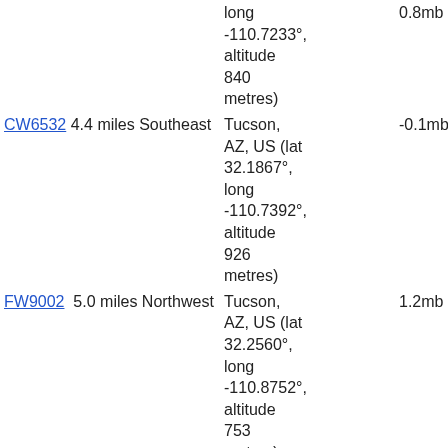| Station | Distance | Location | Col4 | Col5 |
| --- | --- | --- | --- | --- |
|  |  | long -110.7233°, altitude 840 metres) | 0.8mb | 2.3 |
| CW6532 | 4.4 miles Southeast | Tucson, AZ, US (lat 32.1867°, long -110.7392°, altitude 926 metres) | -0.1mb | -0.8 |
| FW9002 | 5.0 miles Northwest | Tucson, AZ, US (lat 32.2560°, long -110.8752°, altitude 753 metres) | 1.2mb | 0.7 |
| DW4536 | 5.3 miles Northeast | Tucson, AZ, US (lat 32.2968°, long |  |  |